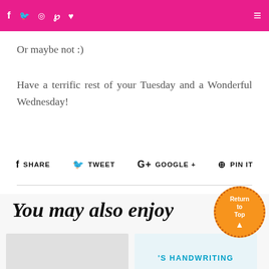f  Twitter  Instagram  Pinterest  ♥  [hamburger menu]
Or maybe not :)
Have a terrific rest of your Tuesday and a Wonderful Wednesday!
f SHARE   Twitter TWEET   G+ GOOGLE +   Pinterest PIN IT
You may also enjoy
[Figure (photo): Thumbnail image placeholder (light gray)]
[Figure (photo): Thumbnail with text 'S HANDWRITING' in blue]
[Figure (illustration): Return to Top circular orange badge with arrow]